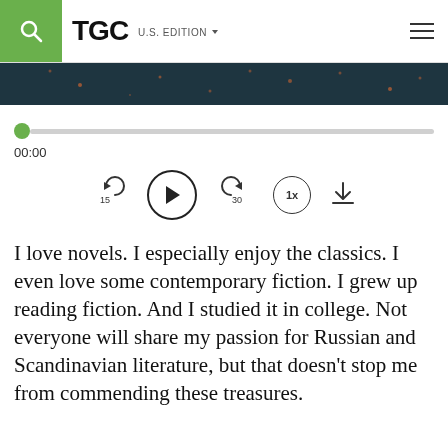TGC U.S. EDITION
[Figure (screenshot): Dark teal/navy hero image strip with orange star-like particles]
[Figure (other): Audio player with green progress dot, progress track, time display 00:00, skip-back 15s, play button, skip-forward 30s, speed 1x, and download controls]
I love novels. I especially enjoy the classics. I even love some contemporary fiction. I grew up reading fiction. And I studied it in college. Not everyone will share my passion for Russian and Scandinavian literature, but that doesn't stop me from commending these treasures.